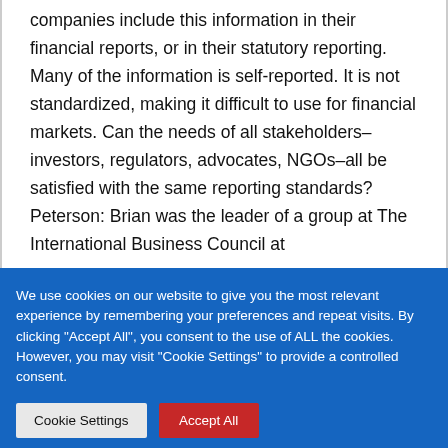companies include this information in their financial reports, or in their statutory reporting. Many of the information is self-reported. It is not standardized, making it difficult to use for financial markets. Can the needs of all stakeholders–investors, regulators, advocates, NGOs–all be satisfied with the same reporting standards? Peterson: Brian was the leader of a group at The International Business Council at
We use cookies on our website to give you the most relevant experience by remembering your preferences and repeat visits. By clicking "Accept All", you consent to the use of ALL the cookies. However, you may visit "Cookie Settings" to provide a controlled consent.